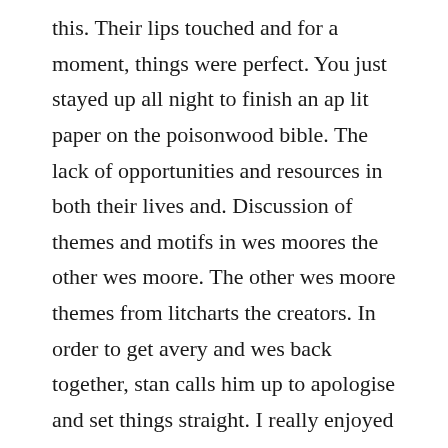this. Their lips touched and for a moment, things were perfect. You just stayed up all night to finish an ap lit paper on the poisonwood bible. The lack of opportunities and resources in both their lives and. Discussion of themes and motifs in wes moores the other wes moore. The other wes moore themes from litcharts the creators. In order to get avery and wes back together, stan calls him up to apologise and set things straight. I really enjoyed this book, as it is filled with mystery and wonderful tension like feeling which glued me to the story. Im with